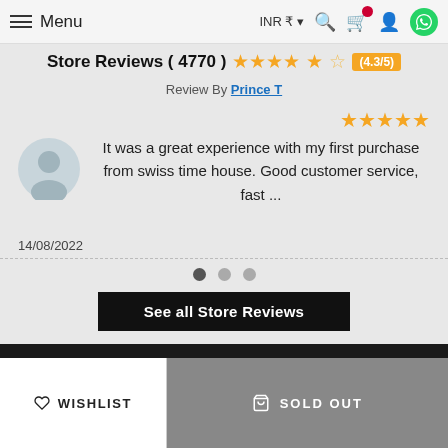Menu | INR ₹ ▾ | Search | Cart | Account | WhatsApp
Store Reviews ( 4770 ) ★★★★☆ (4.3/5)
Review By Prince T
[Figure (other): Five gold stars rating for the review]
[Figure (other): User avatar placeholder circle icon]
It was a great experience with my first purchase from swiss time house. Good customer service, fast ...
14/08/2022
[Figure (other): Carousel navigation dots - 3 dots, first one active]
See all Store Reviews
[Figure (other): Payment method logos: VISA, V PAY, Maestro, MasterCard on dark background]
♡ WISHLIST
SOLD OUT